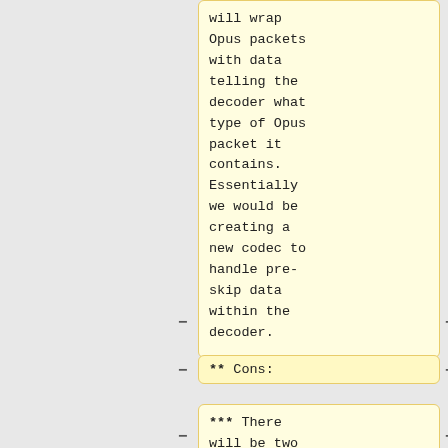will wrap Opus packets with data telling the decoder what type of Opus packet it contains. Essentially we would be creating a new codec to handle pre-skip data within the decoder.
will wrap Opus packets with data telling the decoder what type of Opus packet it contains. Essentially we would be creating a new codec to handle pre-skip data within the decoder.
** Cons:
Cons:
*** There will be two types of
* There will be two types of Opus data